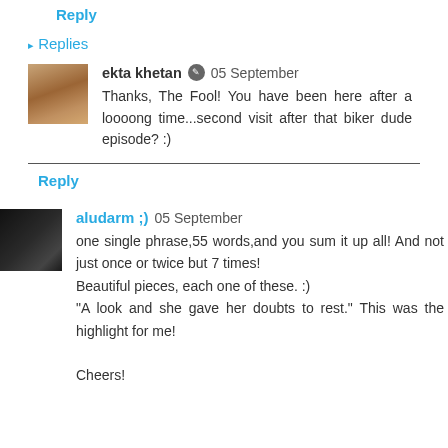Reply
▸ Replies
ekta khetan 05 September
Thanks, The Fool! You have been here after a loooong time...second visit after that biker dude episode? :)
Reply
aludarm ;) 05 September
one single phrase,55 words,and you sum it up all! And not just once or twice but 7 times!
Beautiful pieces, each one of these. :)
"A look and she gave her doubts to rest." This was the highlight for me!

Cheers!